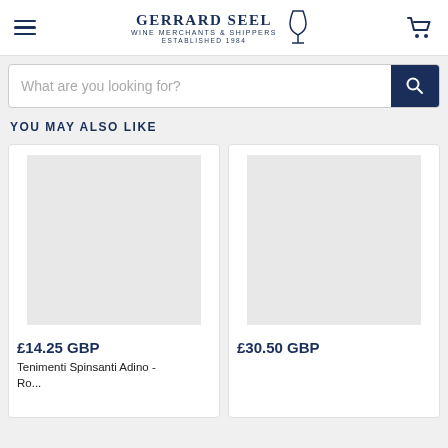[Figure (logo): Gerrard Seel Wine Merchants & Shippers Established 1984 logo with wine glass icon]
[Figure (other): Search bar with placeholder 'What are you looking for?' and dark blue search button]
YOU MAY ALSO LIKE
[Figure (other): Product card with grey placeholder image]
£14.25 GBP
Tenimenti Spinsanti Adino - Ro...
[Figure (other): Second product card with grey placeholder image, partially visible]
£30.50 GBP